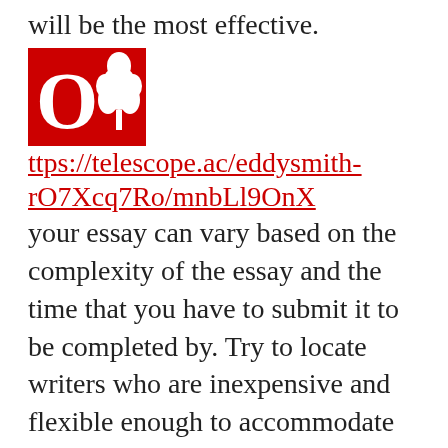will be the most effective.
[Figure (logo): Red square logo with white letter O and tree graphic, resembling The Guardian newspaper logo]
https://telescope.ac/eddysmith-rO7Xcq7Ro/mnbLl9OnX your essay can vary based on the complexity of the essay and the time that you have to submit it to be completed by. Try to locate writers who are inexpensive and flexible enough to accommodate your financial budget as well as your timeline. Choosing a cheap writing service for an essay does not necessarily mean you won't be able to write a good essay. Look for a company with the best writers who will write your essay in the format you require. They should have writing skills and be